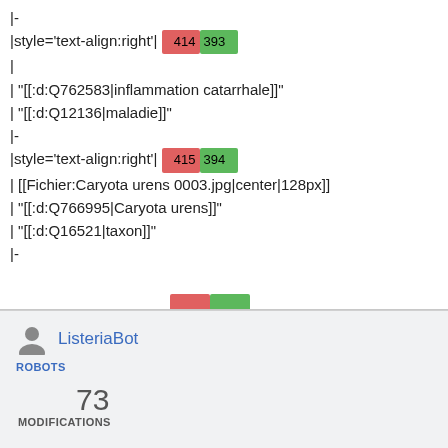|-
|style='text-align:right'| 414393
|
| "[[:d:Q762583|inflammation catarrhale]]"
| "[[:d:Q12136|maladie]]"
|-
|style='text-align:right'| 415394
| [[Fichier:Caryota urens 0003.jpg|center|128px]]
| "[[:d:Q766995|Caryota urens]]"
| "[[:d:Q16521|taxon]]"
|-
ListeriaBot
ROBOTS
73
MODIFICATIONS